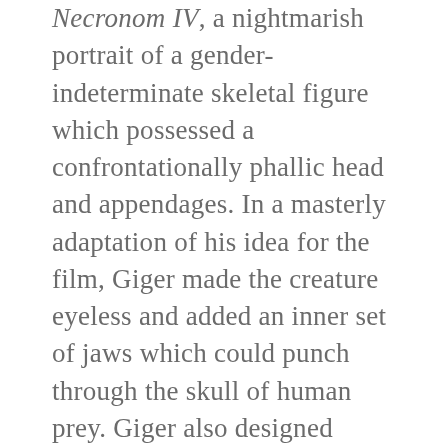Necronom IV, a nightmarish portrait of a gender-indeterminate skeletal figure which possessed a confrontationally phallic head and appendages. In a masterly adaptation of his idea for the film, Giger made the creature eyeless and added an inner set of jaws which could punch through the skull of human prey. Giger also designed other iconic parts of the franchise's mythos like the eggs, the blighted asteroid LV-246 and the facehugger – the second stage in the alien's lifecycle, a kind of tailed crab which orally rapes its victims, depositing eggs by means